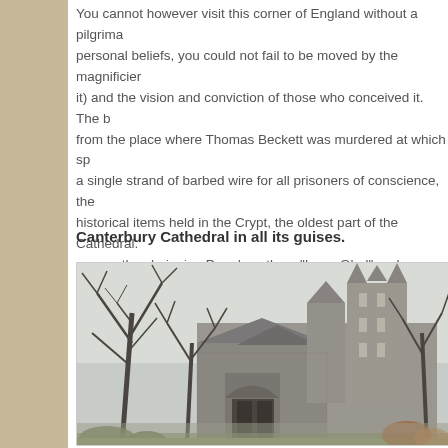You cannot however visit this corner of England without a pilgrimage... personal beliefs, you could not fail to be moved by the magnificence (of it) and the vision and conviction of those who conceived it. The b... from the place where Thomas Beckett was murdered at which sp... a single strand of barbed wire for all prisoners of conscience, the... historical items held in the Crypt, the oldest part of the Cathedral. ...organ, the choir sing Parry's anthem "I was Glad" and Handel's '... setting and the purity of the sound transported them to another, un...
Canterbury Cathedral in all its guises.
[Figure (photo): Photograph of Canterbury Cathedral viewed from the grounds. The image shows the large stone cathedral with its tall Gothic towers visible above bare winter trees in the foreground. The cathedral's stone walls, arched gateway entrance, and slate roofs are visible. The sky is overcast and grey.]